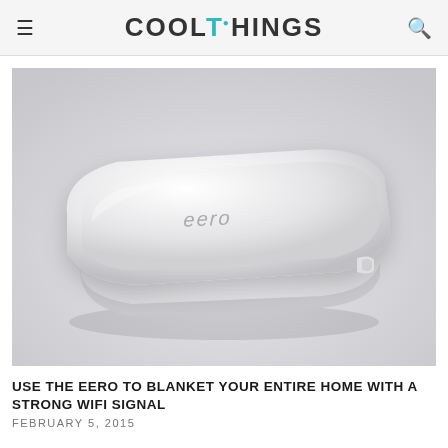COOLTHINGS
[Figure (photo): Eero wifi router device — a white, rounded-square shaped flat device with 'eero' logo printed on top, photographed on a light gray background at an angle showing its top and front face.]
USE THE EERO TO BLANKET YOUR ENTIRE HOME WITH A STRONG WIFI SIGNAL
FEBRUARY 5, 2015